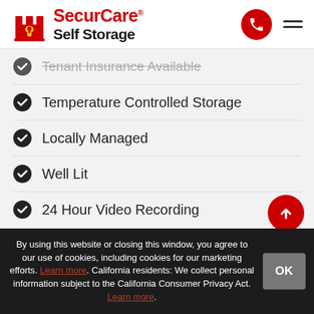[Figure (logo): SecurCare Self Storage logo with red castle/rook icon and red/black text]
Tenant Insurance Available
Temperature Controlled Storage
Locally Managed
Well Lit
24 Hour Video Recording
Driving Directions to SecurCare Self Storage in West Fayetteville, NC
By using this website or closing this window, you agree to our use of cookies, including cookies for our marketing efforts. Learn more. California residents: We collect personal information subject to the California Consumer Privacy Act. Learn more.